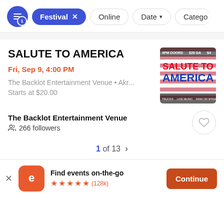[Figure (screenshot): Filter bar with active 'Festival' chip, 'Online', 'Date', and 'Catego...' filter options]
SALUTE TO AMERICA
Fri, Sep 9, 4:00 PM
The Backlot Entertainment Venue • Akr...
Starts at $20.00
[Figure (photo): Event poster for Salute to America showing red/blue text on American flag background, text: 4PM DOORS $20 GA, TRUCKS LIVE MUSIC RAIN OR SHINE]
The Backlot Entertainment Venue
266 followers
1 of 13 >
Find events on-the-go
(128k)
Continue